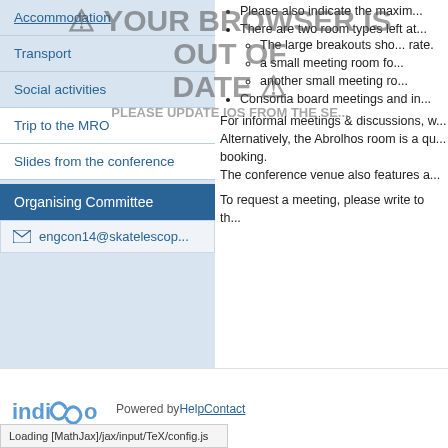Accommodation
Transport
Social activities
Trip to the MRO
Slides from the conference
Organising Committee
engcon14@skatelescop...
Please also indicate the maxim...
There are two room types left at... The large breakouts sho... rate. a small meeting room fo... another small meeting ro...
Consortia board meetings and in...
For informal meetings & discussions, w... Alternatively, the Abrolhos room is a qu... booking. The conference venue also features a...
To request a meeting, please write to th...
[Figure (logo): Indico logo with infinity symbol]
Powered by Help Contact
Loading [MathJax]/jax/input/TeX/config.js